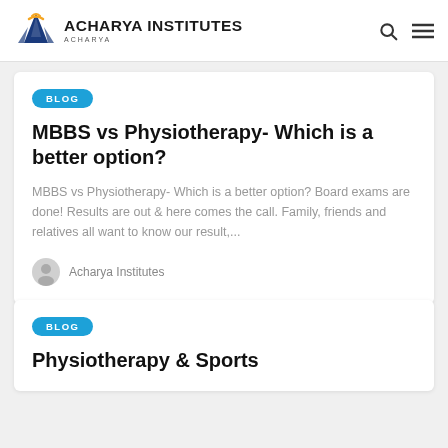ACHARYA INSTITUTES
BLOG
MBBS vs Physiotherapy- Which is a better option?
MBBS vs Physiotherapy- Which is a better option? Board exams are done! Results are out & here comes the call. Family, friends and relatives all want to know our result,...
Acharya Institutes
BLOG
Physiotherapy & Sports